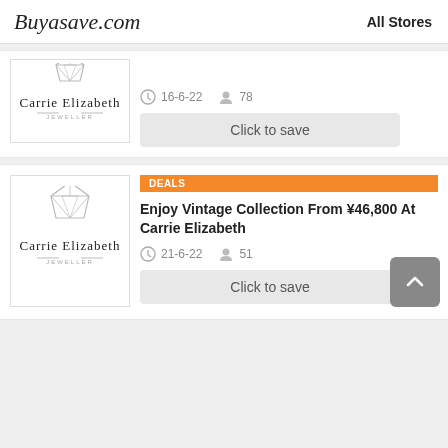Buyasave.com  All Stores
[Figure (logo): Carrie Elizabeth jeweller logo with diamond icon]
16-6-22  78
Click to save
[Figure (logo): Carrie Elizabeth jeweller logo with diamond icon]
DEALS
Enjoy Vintage Collection From ¥46,800 At Carrie Elizabeth
21-6-22  51
Click to save